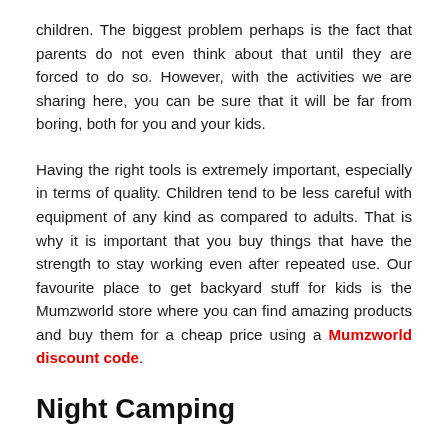children. The biggest problem perhaps is the fact that parents do not even think about that until they are forced to do so. However, with the activities we are sharing here, you can be sure that it will be far from boring, both for you and your kids.
Having the right tools is extremely important, especially in terms of quality. Children tend to be less careful with equipment of any kind as compared to adults. That is why it is important that you buy things that have the strength to stay working even after repeated use. Our favourite place to get backyard stuff for kids is the Mumzworld store where you can find amazing products and buy them for a cheap price using a Mumzworld discount code.
Night Camping